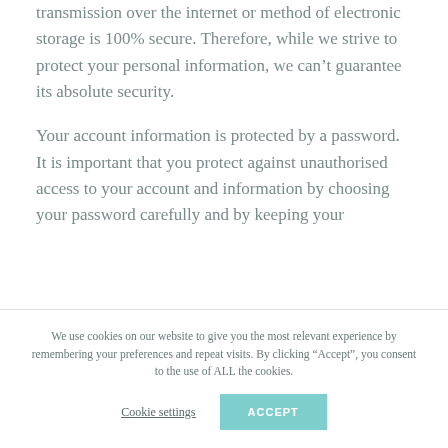transmission over the internet or method of electronic storage is 100% secure. Therefore, while we strive to protect your personal information, we can't guarantee its absolute security.
Your account information is protected by a password. It is important that you protect against unauthorised access to your account and information by choosing your password carefully and by keeping your
We use cookies on our website to give you the most relevant experience by remembering your preferences and repeat visits. By clicking “Accept”, you consent to the use of ALL the cookies.